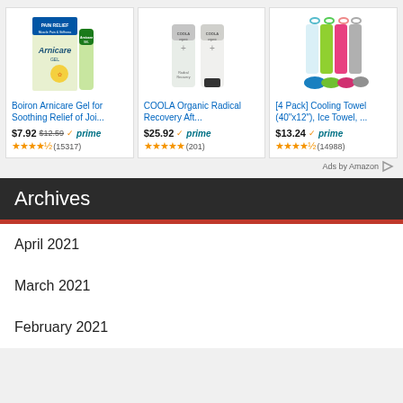[Figure (screenshot): Amazon product ad - Boiron Arnicare Gel for Soothing Relief of Joi... $7.92 (was $12.59), Prime, 4.5 stars, (15317) reviews]
[Figure (screenshot): Amazon product ad - COOLA Organic Radical Recovery Aft... $25.92, Prime, 5 stars, (201) reviews]
[Figure (screenshot): Amazon product ad - [4 Pack] Cooling Towel (40"x12"), Ice Towel, ... $13.24, Prime, 4.5 stars, (14988) reviews]
Ads by Amazon
Archives
April 2021
March 2021
February 2021